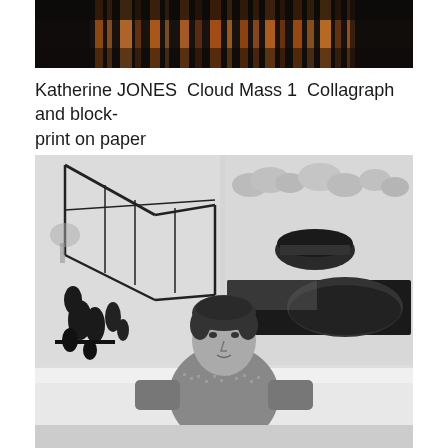[Figure (photo): Top portion of an artwork — Katherine JONES Cloud Mass 1, a collagraph and block-print on paper, showing dark abstract vertical streaks in oranges and blacks against a dark background.]
Katherine JONES  Cloud Mass 1  Collagraph and block-print on paper
Paper 85 x 74 | Block 69 x 58.5 cm
[Figure (photo): Black and white photograph of a woman (Katherine Jones) sitting in front of large artworks on a wall. She has short dark hair, wears a patterned sweater, and looks directly at the camera. Behind her are large prints including one featuring greenhouse-like geometric line drawings and another with abstract landscape forms.]